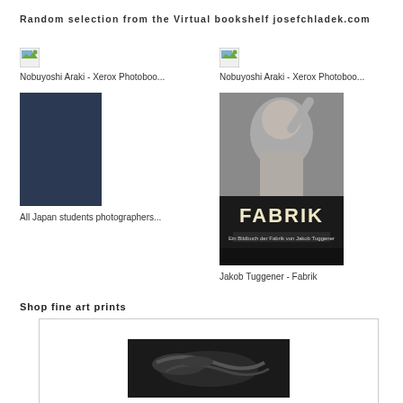Random selection from the Virtual bookshelf josefchladek.com
[Figure (photo): Small broken image placeholder icon (top-left, left column)]
Nobuyoshi Araki - Xerox Photoboo...
[Figure (photo): Small broken image placeholder icon (top-right, right column)]
Nobuyoshi Araki - Xerox Photoboo...
[Figure (photo): Dark navy blue book cover for All Japan students photographers]
All Japan students photographers...
[Figure (photo): Book cover for Jakob Tuggener - Fabrik, showing a man with hand raised and FABRIK title text]
Jakob Tuggener - Fabrik
Shop fine art prints
[Figure (photo): Black and white fine art print photograph inside a white frame border]